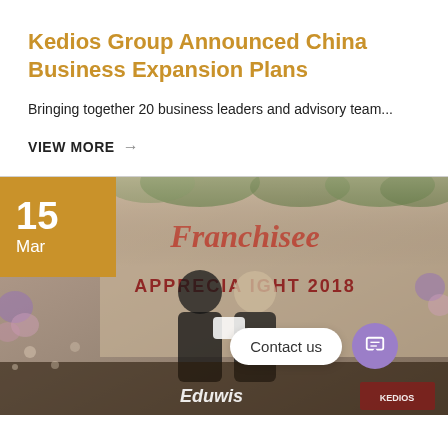Kedios Group Announced China Business Expansion Plans
Bringing together 20 business leaders and advisory team...
VIEW MORE →
[Figure (photo): Event photo showing two men in formal attire exchanging something at a Franchisee Appreciation Night 2018 event, with Eduwis branding visible. A gold date badge showing '15 Mar' overlaps the top-left corner. A 'Contact us' chat widget appears in the lower-right of the image.]